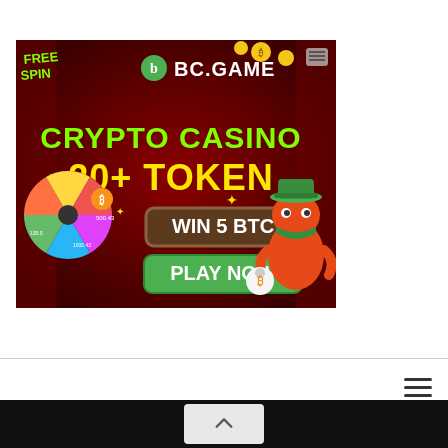[Figure (illustration): BC.GAME crypto casino advertisement banner. Dark red/maroon background with a spinning prize wheel on the left showing various amounts (500.43, 1000.43, 130.523). Text reads 'FREE SPIN' in top-left corner, BC.GAME logo at top center, 'CRYPTO CASINO 20+ TOKEN' in large green and yellow text, 'WIN 5 BTC' in a brown rectangular badge, 'PLAY NOW' in a green button. A cartoon orange dinosaur/dragon character wearing a cowboy hat and bandana holding a money bag with Bitcoin symbol on the right side. Golden coins scattered at top.]
[Figure (illustration): Hamburger menu icon (three horizontal lines) in the top-right area of the lower white section.]
[Figure (illustration): Scroll-to-top button (chevron/caret pointing up) in a light grey rounded rectangle, centered in the black footer bar at the bottom of the page.]